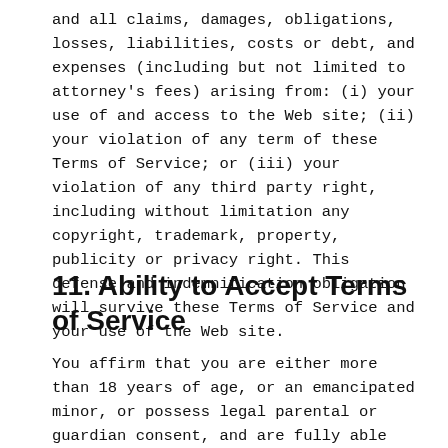and all claims, damages, obligations, losses, liabilities, costs or debt, and expenses (including but not limited to attorney's fees) arising from: (i) your use of and access to the Web site; (ii) your violation of any term of these Terms of Service; or (iii) your violation of any third party right, including without limitation any copyright, trademark, property, publicity or privacy right. This defense and indemnification obligation will survive these Terms of Service and your use of the Web site.
11. Ability to Accept Terms of Service
You affirm that you are either more than 18 years of age, or an emancipated minor, or possess legal parental or guardian consent, and are fully able and competent to enter into the terms, conditions, obligations, affirmations, representations, and warranties set forth